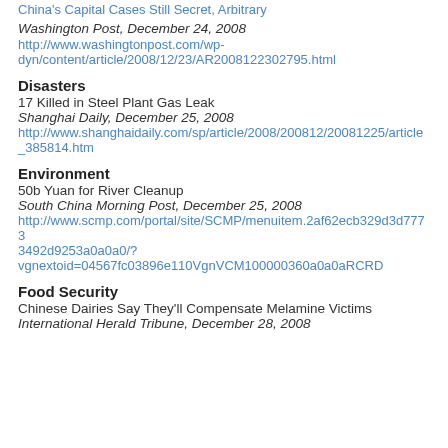http://www.washingtonpost.com/wp-dyn/content/article/2008/12/23/AR2008122302795.html
China's Capital Cases Still Secret, Arbitrary
Washington Post, December 24, 2008
http://www.washingtonpost.com/wp-dyn/content/article/2008/12/23/AR2008122302795.html
Disasters
17 Killed in Steel Plant Gas Leak
Shanghai Daily, December 25, 2008
http://www.shanghaidaily.com/sp/article/2008/200812/20081225/article_385814.htm
Environment
50b Yuan for River Cleanup
South China Morning Post, December 25, 2008
http://www.scmp.com/portal/site/SCMP/menuitem.2af62ecb329d3d7733492d9253a0a0a0/?vgnextoid=04567fc03896e110VgnVCM100000360a0a0aRCRD
Food Security
Chinese Dairies Say They'll Compensate Melamine Victims
International Herald Tribune, December 28, 2008